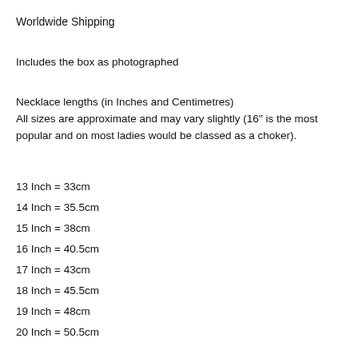Worldwide Shipping
Includes the box as photographed
Necklace lengths (in Inches and Centimetres)
All sizes are approximate and may vary slightly (16" is the most popular and on most ladies would be classed as a choker).
13 Inch = 33cm
14 Inch = 35.5cm
15 Inch = 38cm
16 Inch = 40.5cm
17 Inch = 43cm
18 Inch = 45.5cm
19 Inch = 48cm
20 Inch = 50.5cm
22 Inch = 56cm
24 Inch = 61cm